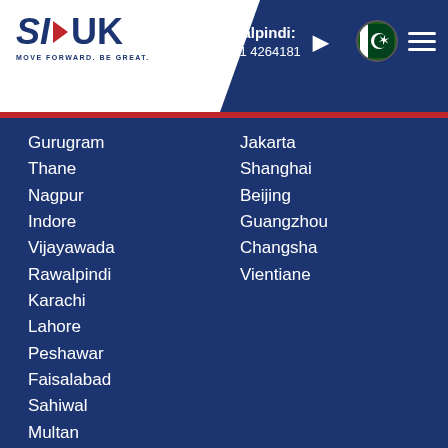SI-UK | MOVE FORWARD. BE GREAT. | Rawalpindi: +92 51 4264181
Gurugram
Thane
Nagpur
Indore
Vijayawada
Rawalpindi
Karachi
Lahore
Peshawar
Faisalabad
Sahiwal
Multan
Dhaka
Chattogram
Kathmandu
Colombo
Jaffna
Jakarta
Shanghai
Beijing
Guangzhou
Changsha
Vientiane
© 2022 SI-UK | All rights reserved | Privacy Policy